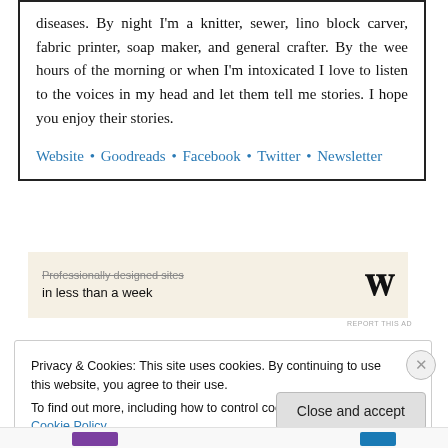diseases. By night I'm a knitter, sewer, lino block carver, fabric printer, soap maker, and general crafter. By the wee hours of the morning or when I'm intoxicated I love to listen to the voices in my head and let them tell me stories. I hope you enjoy their stories.
Website • Goodreads • Facebook • Twitter • Newsletter
[Figure (screenshot): WordPress advertisement banner: 'Professionally designed sites in less than a week' with WordPress logo]
REPORT THIS AD
Privacy & Cookies: This site uses cookies. By continuing to use this website, you agree to their use.
To find out more, including how to control cookies, see here: Cookie Policy
Close and accept